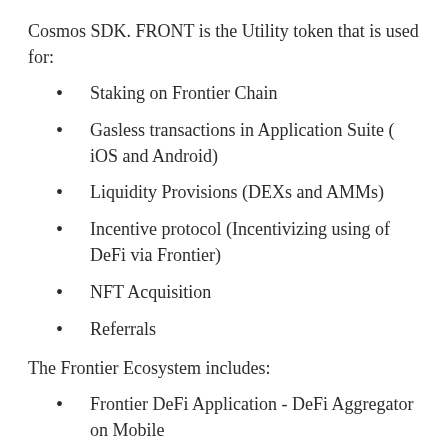Cosmos SDK. FRONT is the Utility token that is used for:
Staking on Frontier Chain
Gasless transactions in Application Suite ( iOS and Android)
Liquidity Provisions (DEXs and AMMs)
Incentive protocol (Incentivizing using of DeFi via Frontier)
NFT Acquisition
Referrals
The Frontier Ecosystem includes:
Frontier DeFi Application - DeFi Aggregator on Mobile
Frontier Chain - A Cosmos Based Decentralised